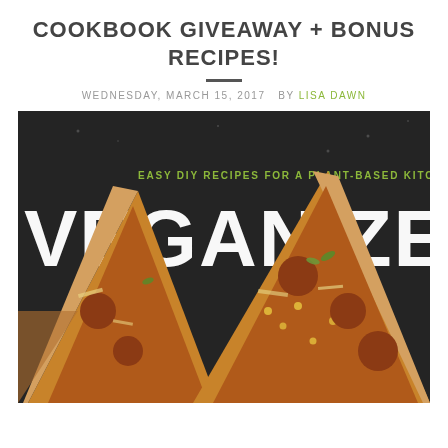COOKBOOK GIVEAWAY + BONUS RECIPES!
WEDNESDAY, MARCH 15, 2017   BY LISA DAWN
[Figure (photo): Book cover of 'Veganize It!' showing pizza slices topped with vegan pepperoni on a dark background. Subtitle reads 'Easy DIY Recipes for a Plant-Based Kitchen'.]